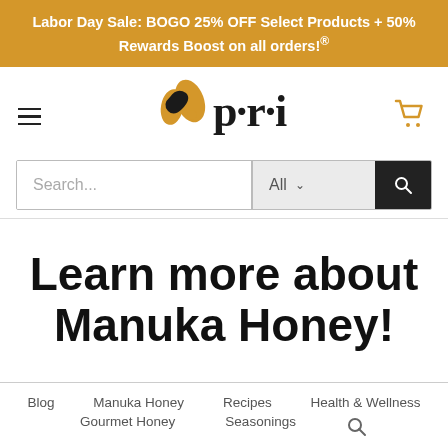Labor Day Sale: BOGO 25% OFF Select Products + 50% Rewards Boost on all orders!®
[Figure (logo): PRI brand logo with golden bee/flame icon and stylized 'p·r·i' text in black serif font, with hamburger menu icon on left and shopping cart icon on right]
Search...  All  [search button]
Learn more about Manuka Honey!
Blog  Manuka Honey  Recipes  Health & Wellness  Gourmet Honey  Seasonings